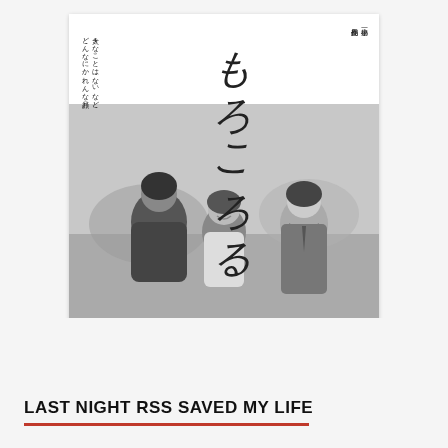[Figure (photo): Japanese movie poster in black and white. Large vertical Japanese calligraphy title 'もろころ' at top center. Small vertical Japanese text on upper left and upper right. Black and white photo of three people (two girls facing each other, one in the middle) in an outdoor setting. Small Japanese credits text at the bottom of the poster.]
LAST NIGHT RSS SAVED MY LIFE